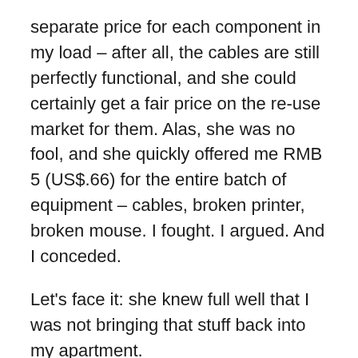separate price for each component in my load – after all, the cables are still perfectly functional, and she could certainly get a fair price on the re-use market for them. Alas, she was no fool, and she quickly offered me RMB 5 (US$.66) for the entire batch of equipment – cables, broken printer, broken mouse. I fought. I argued. And I conceded.
Let's face it: she knew full well that I was not bringing that stuff back into my apartment.
But I digress. In return for my RMB 5, I asked that she tell me where she planned to sell the printer. Her answer was quite specific – a Shanghai-area plastics recycler – and believable. As to what the plastics recycler will do with the electronic components within the printer, she couldn't say. My guess is that they will be shipped to a site outside of